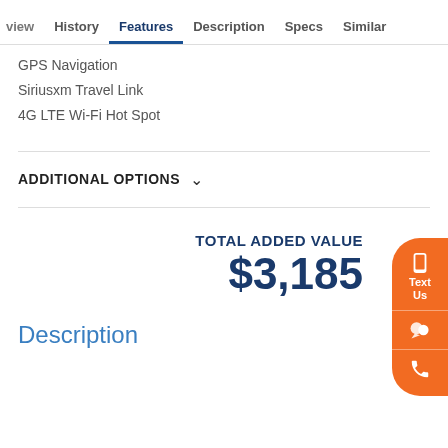view  History  Features  Description  Specs  Similar
GPS Navigation
Siriusxm Travel Link
4G LTE Wi-Fi Hot Spot
ADDITIONAL OPTIONS
TOTAL ADDED VALUE $3,185
Description